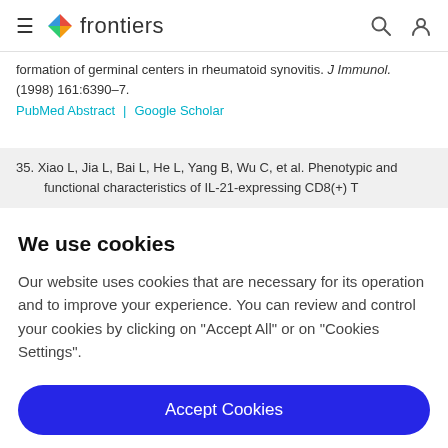frontiers
formation of germinal centers in rheumatoid synovitis. J Immunol. (1998) 161:6390–7. PubMed Abstract | Google Scholar
35. Xiao L, Jia L, Bai L, He L, Yang B, Wu C, et al. Phenotypic and functional characteristics of IL-21-expressing CD8(+) T
We use cookies
Our website uses cookies that are necessary for its operation and to improve your experience. You can review and control your cookies by clicking on "Accept All" or on "Cookies Settings".
Accept Cookies
Cookies Settings